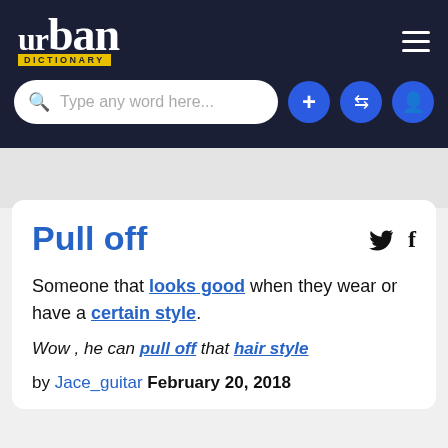Urban Dictionary — Pull off
[Figure (screenshot): Urban Dictionary website header with logo, search bar, and icon buttons]
Pull off
Someone that looks good when they wear or have a certain style.
Wow , he can pull off that hair style
by Jace_guitar February 20, 2018